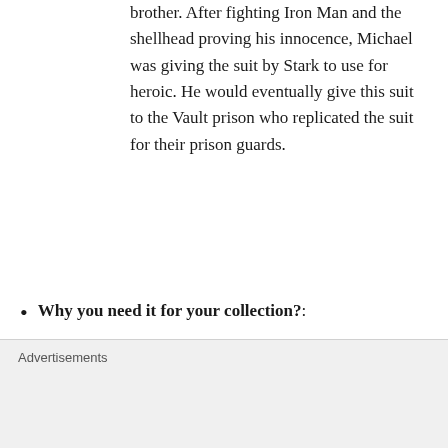brother. After fighting Iron Man and the shellhead proving his innocence, Michael was giving the suit by Stark to use for heroic. He would eventually give this suit to the Vault prison who replicated the suit for their prison guards.
Why you need it for your collection?:
Many people will want to army build this, but for those that don't want to
Advertisements